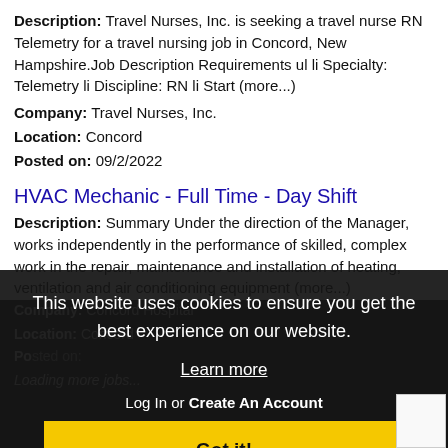Description: Travel Nurses, Inc. is seeking a travel nurse RN Telemetry for a travel nursing job in Concord, New Hampshire.Job Description Requirements ul li Specialty: Telemetry li Discipline: RN li Start (more...)
Company: Travel Nurses, Inc.
Location: Concord
Posted on: 09/2/2022
HVAC Mechanic - Full Time - Day Shift
Description: Summary Under the direction of the Manager, works independently in the performance of skilled, complex work in the repair, maintenance and installation of heating, ventilation and air conditioning equipment (more...)
Company: Concord Hospital
Location: Concord
Posted on: (partially visible)
Loading more jobs...
This website uses cookies to ensure you get the best experience on our website.
Learn more
Log In or Create An Account
Got it!
Username: